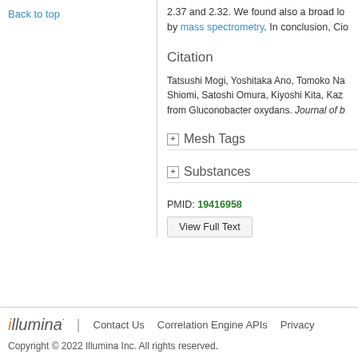Back to top
2.37 and 2.32. We found also a broad low... by mass spectrometry. In conclusion, Cio...
Citation
Tatsushi Mogi, Yoshitaka Ano, Tomoko Na... Shiomi, Satoshi Omura, Kiyoshi Kita, Kaz... from Gluconobacter oxydans. Journal of b...
Mesh Tags
Substances
PMID: 19416958
View Full Text
illumina | Contact Us  Correlation Engine APIs  Privacy
Copyright © 2022 Illumina Inc. All rights reserved.